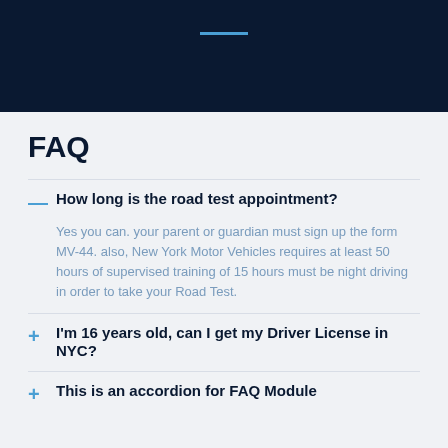FAQ
How long is the road test appointment?
Yes you can. your parent or guardian must sign up the form MV-44. also, New York Motor Vehicles requires at least 50 hours of supervised training of 15 hours must be night driving in order to take your Road Test.
I'm 16 years old, can I get my Driver License in NYC?
This is an accordion for FAQ Module